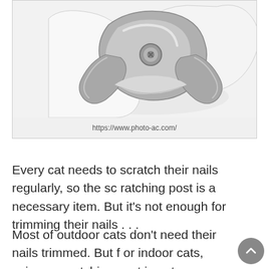[Figure (photo): Close-up photo of a metal pet nail clipper/trimmer with white handles on a white background]
https://www.photo-ac.com/
Every cat needs to scratch their nails regularly, so the scratching post is a necessary item. But it's not enough for trimming their nails . . .
Most of outdoor cats don't need their nails trimmed. But for indoor cats, using a scratching post is not enough to shed their nails or avoid overgrown nails . . . so don't forg